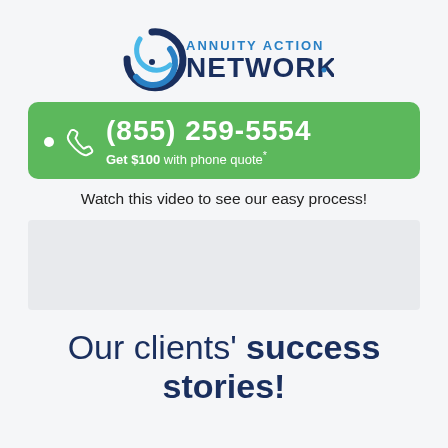[Figure (logo): Annuity Action Network logo with circular swirl icon and blue text]
[Figure (infographic): Green banner with phone icon, phone number (855) 259-5554 and text 'Get $100 with phone quote*']
Watch this video to see our easy process!
[Figure (screenshot): Video placeholder area]
Our clients' success stories!